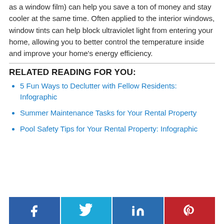as a window film) can help you save a ton of money and stay cooler at the same time. Often applied to the interior windows, window tints can help block ultraviolet light from entering your home, allowing you to better control the temperature inside and improve your home's energy efficiency.
RELATED READING FOR YOU:
5 Fun Ways to Declutter with Fellow Residents: Infographic
Summer Maintenance Tasks for Your Rental Property
Pool Safety Tips for Your Rental Property: Infographic
[Figure (infographic): Social sharing buttons: Facebook (blue), Twitter (cyan), LinkedIn (blue), Pinterest (red)]